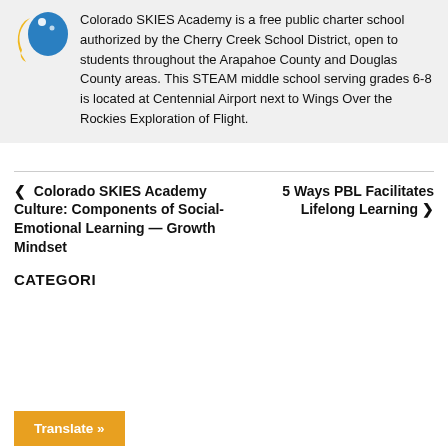[Figure (logo): Colorado SKIES Academy logo — yellow and blue swoosh design]
Colorado SKIES Academy is a free public charter school authorized by the Cherry Creek School District, open to students throughout the Arapahoe County and Douglas County areas. This STEAM middle school serving grades 6-8 is located at Centennial Airport next to Wings Over the Rockies Exploration of Flight.
‹  Colorado SKIES Academy Culture: Components of Social-Emotional Learning — Growth Mindset
5 Ways PBL Facilitates Lifelong Learning  ›
CATEGORIES
Translate »